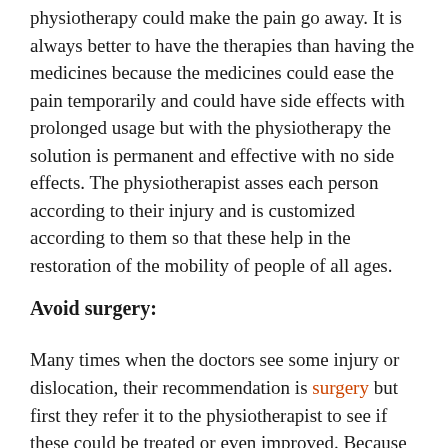physiotherapy could make the pain go away. It is always better to have the therapies than having the medicines because the medicines could ease the pain temporarily and could have side effects with prolonged usage but with the physiotherapy the solution is permanent and effective with no side effects. The physiotherapist asses each person according to their injury and is customized according to them so that these help in the restoration of the mobility of people of all ages.
Avoid surgery:
Many times when the doctors see some injury or dislocation, their recommendation is surgery but first they refer it to the physiotherapist to see if these could be treated or even improved. Because going to surgery itself is a very terrifying and dangerous task with high risks of failure and even if some patient does have a